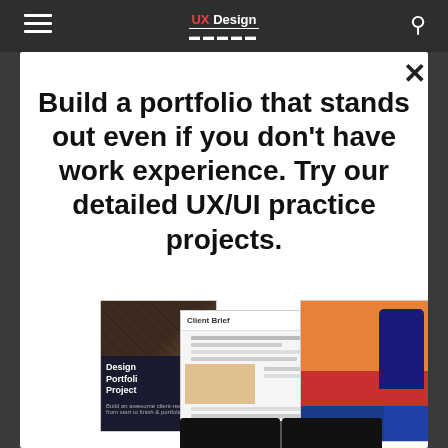UX Design MASTRY
Build a portfolio that stands out even if you don't have work experience. Try our detailed UX/UI practice projects.
[Figure (screenshot): Collage of UX/UI design portfolio project screenshots including a dark 'Design Portfolio Project' cover page, a 'Client Brief' document, colorful app mockups with orange and red panels, and a blue phone mockup.]